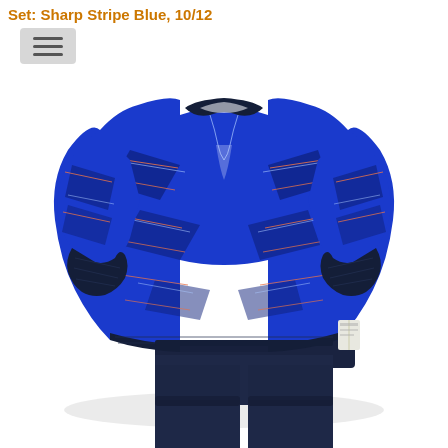Set: Sharp Stripe Blue, 10/12
[Figure (photo): Product photo of a children's two-piece pajama set: long-sleeve top with blue, navy, and orange zigzag/sharp stripe pattern, paired with solid navy pants. Laid flat on white background.]